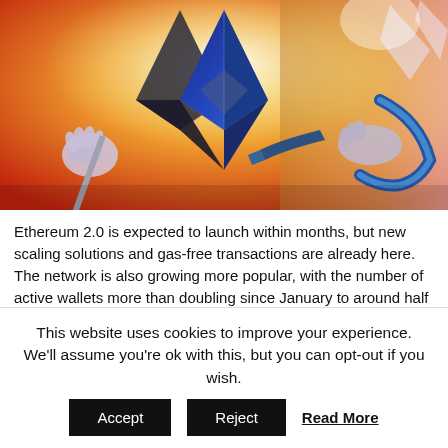[Figure (illustration): Stylized illustration of the Ethereum diamond logo held by robotic/armored hands, with blue and orange gradient background evoking a fantasy or sci-fi aesthetic.]
Ethereum 2.0 is expected to launch within months, but new scaling solutions and gas-free transactions are already here. The network is also growing more popular, with the number of active wallets more than doubling since January to around half a million. Synthetix scales up optimistically The developers behind the second-largest DeFi protocol, Synthetix, have
This website uses cookies to improve your experience. We'll assume you're ok with this, but you can opt-out if you wish.